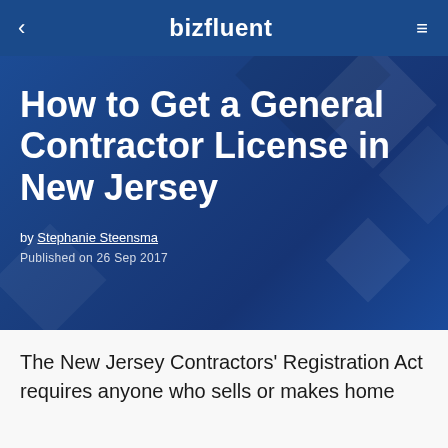< bizfluent ≡
How to Get a General Contractor License in New Jersey
by Stephanie Steensma
Published on 26 Sep 2017
The New Jersey Contractors' Registration Act requires anyone who sells or makes home